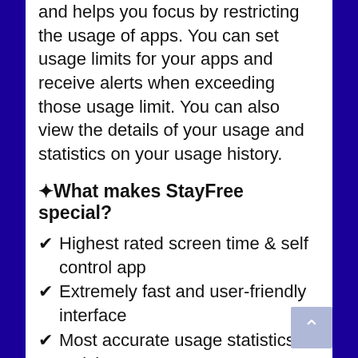and helps you focus by restricting the usage of apps. You can set usage limits for your apps and receive alerts when exceeding those usage limit. You can also view the details of your usage and statistics on your usage history.
✦What makes StayFree special?
Highest rated screen time & self control app
Extremely fast and user-friendly interface
Most accurate usage statistics
Quick customer support
Battery friendly
Totally ad-free!
StayFree – Screen Time Tracker & Limit App Usage helps you:
overcome phone addiction